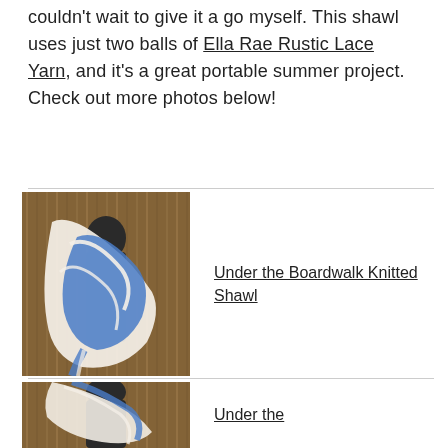couldn't wait to give it a go myself. This shawl uses just two balls of Ella Rae Rustic Lace Yarn, and it's a great portable summer project. Check out more photos below!
[Figure (photo): A blue and cream knitted shawl draped on a mannequin torso against a wooden background]
Under the Boardwalk Knitted Shawl
[Figure (photo): A second view of the blue and cream knitted shawl on a mannequin torso against a wooden background, partially visible]
Under the